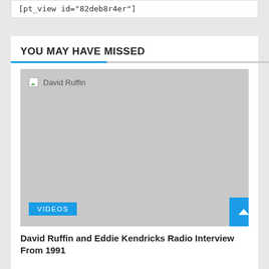[pt_view id="82deb8r4er"]
YOU MAY HAVE MISSED
[Figure (photo): Placeholder image with alt text 'David Ruffin', light grey background with a Videos tag badge in the bottom left]
David Ruffin and Eddie Kendricks Radio Interview From 1991